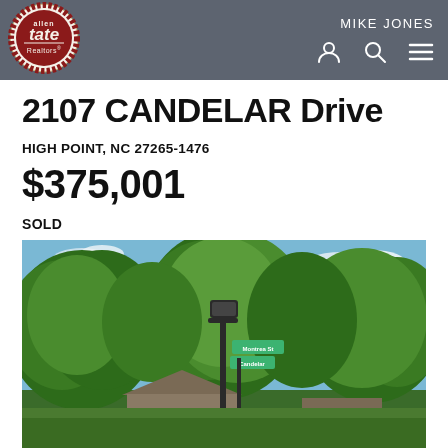Allen Tate Realtors — MIKE JONES
2107 CANDELAR Drive
HIGH POINT, NC 27265-1476
$375,001
SOLD
[Figure (photo): Street-level photo showing tall green trees, a black lamp post with green street signs reading Montrea St, blue sky with clouds, and a partial view of a house roof in the background.]